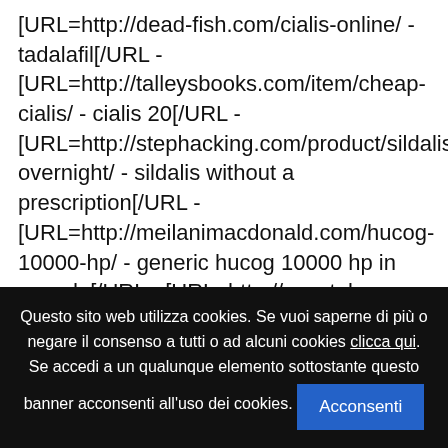[URL=http://dead-fish.com/cialis-online/ - tadalafil[/URL - [URL=http://talleysbooks.com/item/cheap-cialis/ - cialis 20[/URL - [URL=http://stephacking.com/product/sildalis-overnight/ - sildalis without a prescription[/URL - [URL=http://meilanimacdonald.com/hucog-10000-hp/ - generic hucog 10000 hp in canada[/URL - [URL=http://coastal-ims.com/drug/viagra/ - viagra generic 100mg[/URL -
Questo sito web utilizza cookies. Se vuoi saperne di più o negare il consenso a tutti o ad alcuni cookies clicca qui. Se accedi a un qualunque elemento sottostante questo banner acconsenti all'uso dei cookies. Acconsenti